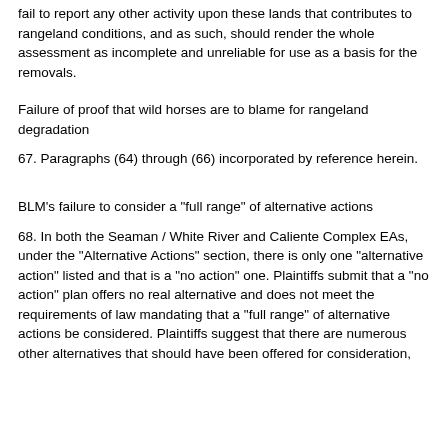fail to report any other activity upon these lands that contributes to rangeland conditions, and as such, should render the whole assessment as incomplete and unreliable for use as a basis for the removals.
Failure of proof that wild horses are to blame for rangeland degradation
67. Paragraphs (64) through (66) incorporated by reference herein.
BLM's failure to consider a "full range" of alternative actions
68. In both the Seaman / White River and Caliente Complex EAs, under the "Alternative Actions" section, there is only one "alternative action" listed and that is a "no action" one. Plaintiffs submit that a "no action" plan offers no real alternative and does not meet the requirements of law mandating that a "full range" of alternative actions be considered. Plaintiffs suggest that there are numerous other alternatives that should have been offered for consideration,